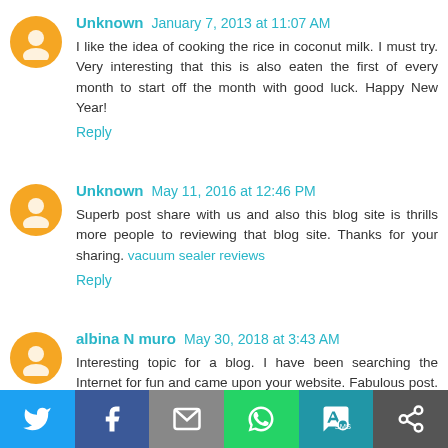Unknown January 7, 2013 at 11:07 AM
I like the idea of cooking the rice in coconut milk. I must try. Very interesting that this is also eaten the first of every month to start off the month with good luck. Happy New Year!
Reply
Unknown May 11, 2016 at 12:46 PM
Superb post share with us and also this blog site is thrills more people to reviewing that blog site. Thanks for your sharing. vacuum sealer reviews
Reply
albina N muro May 30, 2018 at 3:43 AM
Interesting topic for a blog. I have been searching the Internet for fun and came upon your website. Fabulous post. Thanks a ton for sharing your knowledge!
[Figure (infographic): Social share bar with Twitter, Facebook, Email, WhatsApp, SMS, and other sharing icons on colored backgrounds]